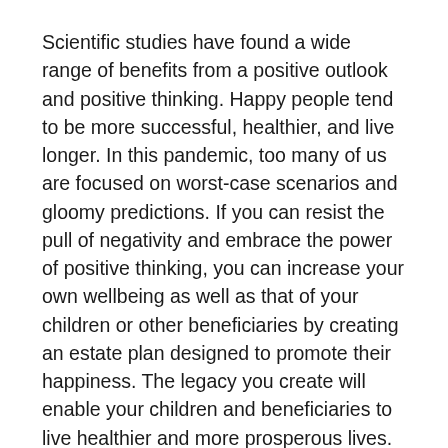Scientific studies have found a wide range of benefits from a positive outlook and positive thinking. Happy people tend to be more successful, healthier, and live longer. In this pandemic, too many of us are focused on worst-case scenarios and gloomy predictions. If you can resist the pull of negativity and embrace the power of positive thinking, you can increase your own wellbeing as well as that of your children or other beneficiaries by creating an estate plan designed to promote their happiness. The legacy you create will enable your children and beneficiaries to live healthier and more prosperous lives.
During this time of crisis, a positive attitude is more important than ever. We can help you identify the ways you can incorporate positivity into your estate planning. The result will provide you with the assurance and peace of mind that you are providing your family with financial security and a beaming positive legacy. The legacy...